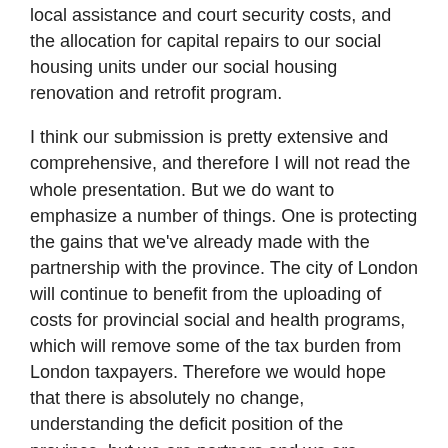local assistance and court security costs, and the allocation for capital repairs to our social housing units under our social housing renovation and retrofit program.
I think our submission is pretty extensive and comprehensive, and therefore I will not read the whole presentation. But we do want to emphasize a number of things. One is protecting the gains that we've already made with the partnership with the province. The city of London will continue to benefit from the uploading of costs for provincial social and health programs, which will remove some of the tax burden from London taxpayers. Therefore we would hope that there is absolutely no change, understanding the deficit position of the province, but we are partners and we are serving the same people, so we urge you to maintain what we've already gained in the past.
We do want to cover some issues that, if we're not careful, could add to the municipal burden, and those are phased approaches to some of the regulatory costs that in fact have been set for us by the province.